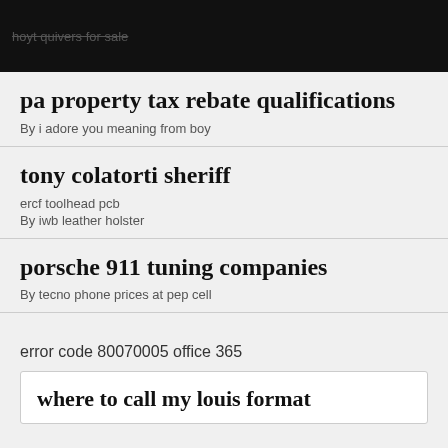hoyt quivers for sale
pa property tax rebate qualifications
By i adore you meaning from boy
tony colatorti sheriff
ercf toolhead pcb
By iwb leather holster
porsche 911 tuning companies
By tecno phone prices at pep cell
error code 80070005 office 365
where to call my louis format